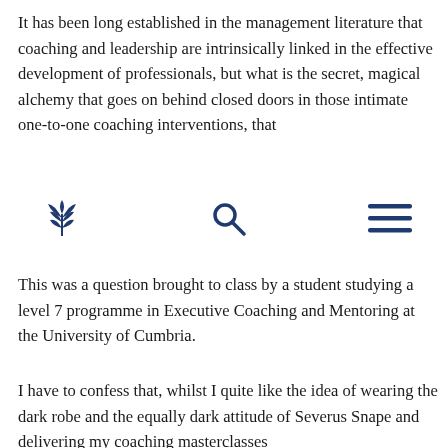It has been long established in the management literature that coaching and leadership are intrinsically linked in the effective development of professionals, but what is the secret, magical alchemy that goes on behind closed doors in those intimate one-to-one coaching interventions, that
[Figure (logo): Navigation bar with a floral/leaf logo icon on the left, a search magnifying glass icon in the center, and a hamburger menu icon on the right. All icons are dark navy blue.]
This was a question brought to class by a student studying a level 7 programme in Executive Coaching and Mentoring at the University of Cumbria.
I have to confess that, whilst I quite like the idea of wearing the dark robe and the equally dark attitude of Severus Snape and delivering my coaching masterclasses